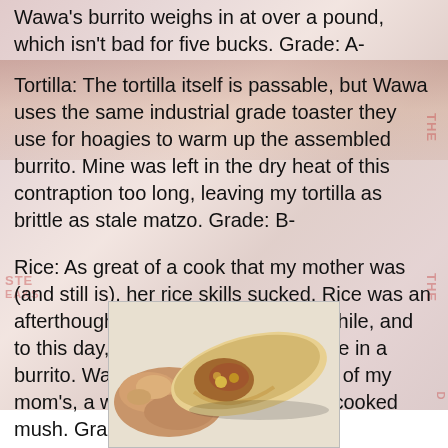Wawa's burrito weighs in at over a pound, which isn't bad for five bucks. Grade: A-
Tortilla: The tortilla itself is passable, but Wawa uses the same industrial grade toaster they use for hoagies to warm up the assembled burrito. Mine was left in the dry heat of this contraption too long, leaving my tortilla as brittle as stale matzo. Grade: B-
Rice: As great of a cook that my mother was (and still is), her rice skills sucked. Rice was an afterthought after beans and green chile, and to this day, I still question its presence in a burrito. Wawa's rice was reminiscent of my mom's, a watery mess of bland overcooked mush. Grade: C
Beans: Beans are easy to fuck up, unless said beans are from a can. Like Wawa's. Grade: B+
[Figure (photo): Hand holding a burrito cross-section showing filling, photographed from above against a white background]